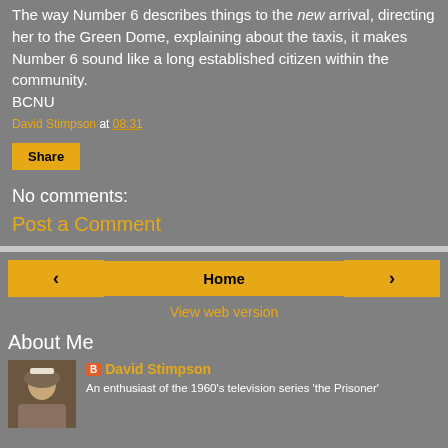The way Number 6 describes things to the new arrival, directing her to the Green Dome, explaining about the taxis, it makes Number 6 sound like a long established citizen within the community.
BCNU
David Stimpson at 08:31
Share
No comments:
Post a Comment
‹
Home
›
View web version
About Me
David Stimpson
An enthusiast of the 1960's television series 'the Prisoner'